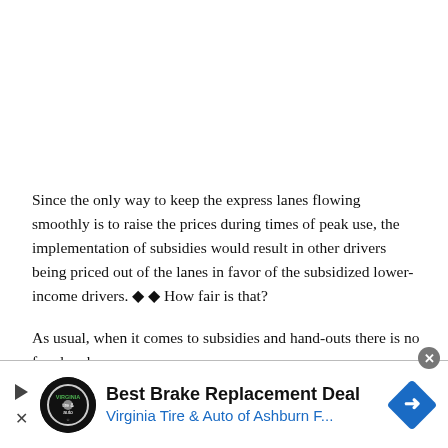Since the only way to keep the express lanes flowing smoothly is to raise the prices during times of peak use, the implementation of subsidies would result in other drivers being priced out of the lanes in favor of the subsidized lower-income drivers. ◆◆ How fair is that?
As usual, when it comes to subsidies and hand-outs there is no free lunch.
[Figure (other): Advertisement banner for Virginia Tire & Auto of Ashburn. Shows logo (circular black badge with tire & auto text), headline 'Best Brake Replacement Deal', subtitle 'Virginia Tire & Auto of Ashburn F...', and a blue diamond road sign icon on the right. Close button (X) at top right.]